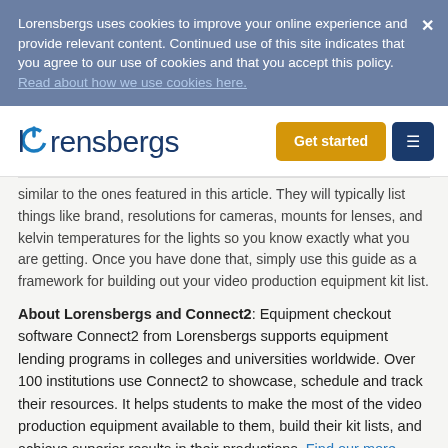Lorensbergs uses cookies to improve your online experience and provide relevant content. Continued use of this site indicates that you agree to our use of cookies and that you accept this policy. Read about how we use cookies here.
[Figure (logo): Lorensbergs logo with power button icon forming the 'o']
Get started
similar to the ones featured in this article. They will typically list things like brand, resolutions for cameras, mounts for lenses, and kelvin temperatures for the lights so you know exactly what you are getting. Once you have done that, simply use this guide as a framework for building out your video production equipment kit list.
About Lorensbergs and Connect2: Equipment checkout software Connect2 from Lorensbergs supports equipment lending programs in colleges and universities worldwide. Over 100 institutions use Connect2 to showcase, schedule and track their resources. It helps students to make the most of the video production equipment available to them, build their kit lists, and achieve superior results in their productions. Find our more about Connect2 here.